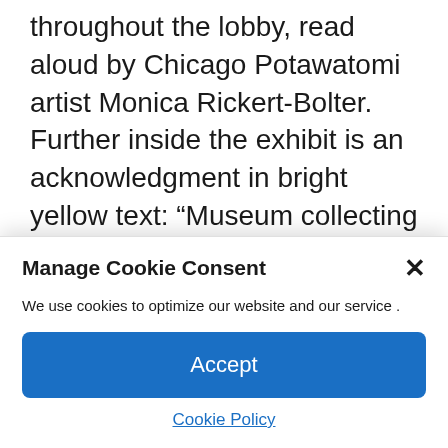throughout the lobby, read aloud by Chicago Potawatomi artist Monica Rickert-Bolter. Further inside the exhibit is an acknowledgment in bright yellow text: “Museum collecting and display practices have deeply harmed Indigenous communities. This exhibition marks a new beginning.

In addition to displaying traditional art forms
Manage Cookie Consent
We use cookies to optimize our website and our service .
Accept
Cookie Policy